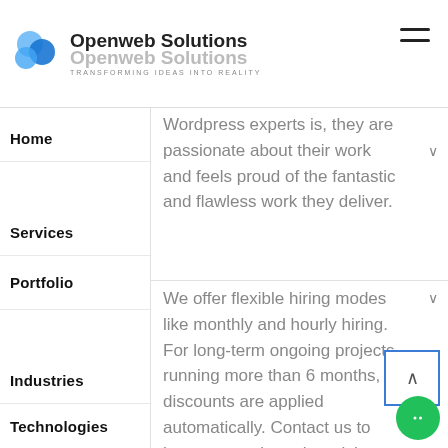Openweb Solutions | Openweb Solutions | TRANSFORMING IDEAS INTO REALITY
Home
Wordpress experts is, they are passionate about their work and feels proud of the fantastic and flawless work they deliver.
Services
Portfolio
We offer flexible hiring modes like monthly and hourly hiring. For long-term ongoing projects running more than 6 months, discounts are applied automatically. Contact us to know more about the pricing.
Industries
Technologies
Company
Blog
Contact
Call us at +1 813-489-6759 to speak to the Wordpress masters